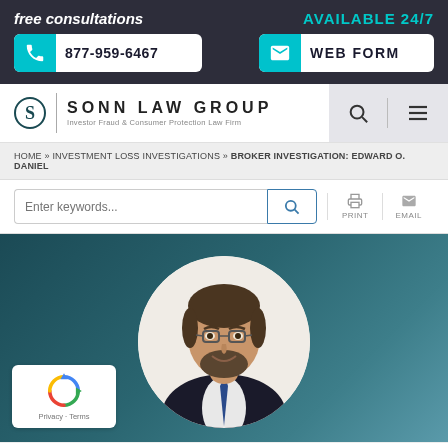free consultations
AVAILABLE 24/7
877-959-6467
WEB FORM
[Figure (logo): Sonn Law Group logo with S monogram, vertical divider, and text 'SONN LAW GROUP / Investor Fraud & Consumer Protection Law Firm']
HOME » INVESTMENT LOSS INVESTIGATIONS » BROKER INVESTIGATION: EDWARD O. DANIEL
Enter keywords...
PRINT
EMAIL
[Figure (photo): Circular portrait photo of attorney Jeff Sonn, a man with glasses and a dark beard wearing a suit and tie, set against a teal/dark green gradient background]
I'm Jeff Sonn, an attorney concentrating on securities